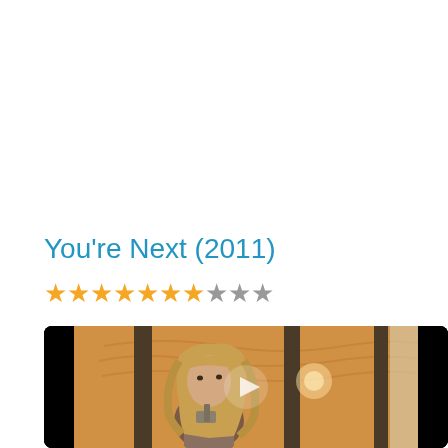You're Next (2011)
[Figure (other): Star rating showing 7 out of 10 filled gold stars followed by 3 grey stars]
[Figure (photo): Movie scene still from You're Next (2011) showing a woman with long blonde hair holding something, framed by a doorway with warm golden lighting. A play button overlay is visible in the center.]